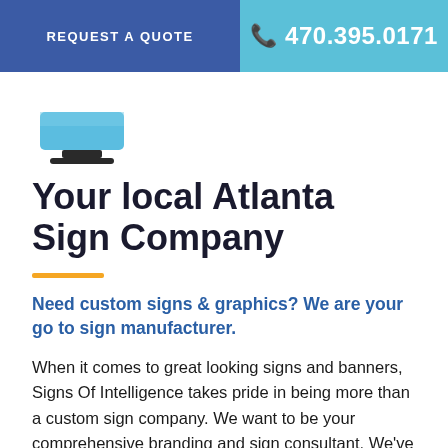REQUEST A QUOTE | 470.395.0171
[Figure (illustration): Blue sign/display stand icon]
Your local Atlanta Sign Company
Need custom signs & graphics? We are your go to sign manufacturer.
When it comes to great looking signs and banners, Signs Of Intelligence takes pride in being more than a custom sign company. We want to be your comprehensive branding and sign consultant. We've worked with a wide variety of businesses and